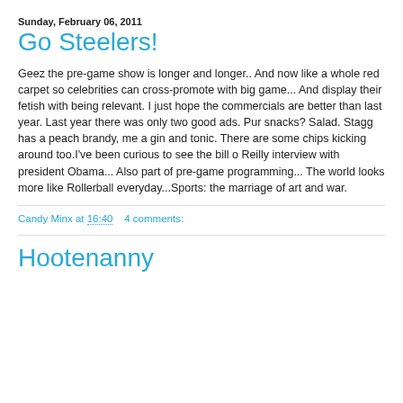Sunday, February 06, 2011
Go Steelers!
Geez the pre-game show is longer and longer.. And now like a whole red carpet so celebrities can cross-promote with big game... And display their fetish with being relevant. I just hope the commercials are better than last year. Last year there was only two good ads. Pur snacks? Salad. Stagg has a peach brandy, me a gin and tonic. There are some chips kicking around too.I've been curious to see the bill o Reilly interview with president Obama... Also part of pre-game programming... The world looks more like Rollerball everyday...Sports: the marriage of art and war.
Candy Minx at 16:40   4 comments:
Hootenanny